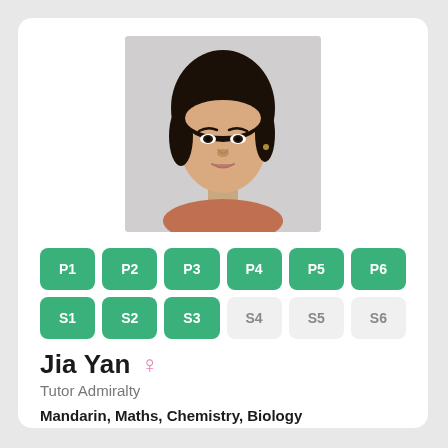[Figure (photo): Headshot photo of a young Asian woman with dark hair pulled back, neutral expression, light background]
P1 P2 P3 P4 P5 P6 S1 S2 S3 S4 S5 S6
Jia Yan
Tutor Admiralty
Mandarin, Maths, Chemistry, Biology